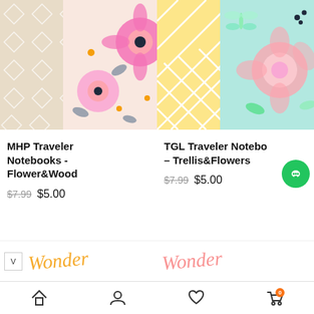[Figure (photo): MHP Traveler Notebooks - Flower&Wood product image showing two notebook covers with floral and wood pattern designs]
[Figure (photo): TGL Traveler Notebooks - Trellis&Flowers product image showing two notebook covers with trellis and floral watercolor designs]
MHP Traveler Notebooks - Flower&Wood
$7.99  $5.00
TGL Traveler Notebooks - Trellis&Flowers
$7.99  $5.00
[Figure (photo): Bottom partial product images showing decorative text/pattern strips]
[Figure (other): Navigation bar with home, account, wishlist, and cart icons]